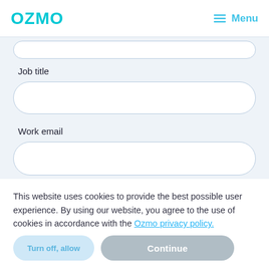[Figure (logo): Ozmo logo in cyan/teal gradient text]
Menu
Job title
Work email
This website uses cookies to provide the best possible user experience. By using our website, you agree to the use of cookies in accordance with the Ozmo privacy policy.
Continue